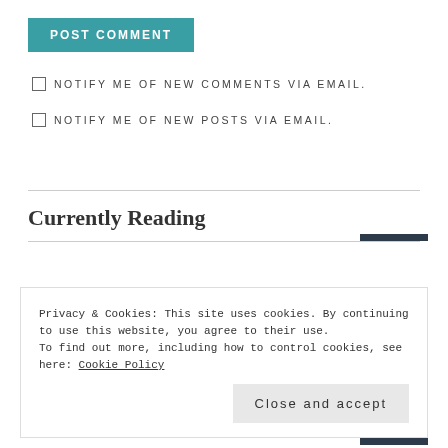POST COMMENT
NOTIFY ME OF NEW COMMENTS VIA EMAIL.
NOTIFY ME OF NEW POSTS VIA EMAIL.
Currently Reading
Privacy & Cookies: This site uses cookies. By continuing to use this website, you agree to their use. To find out more, including how to control cookies, see here: Cookie Policy
Close and accept